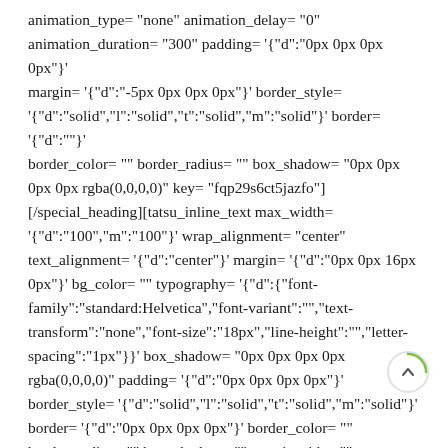animation_type= "none" animation_delay= "0" animation_duration= "300" padding= '{"d":"0px 0px 0px 0px"}' margin= '{"d":"-5px 0px 0px 0px"}' border_style= '{"d":"solid","l":"solid","t":"solid","m":"solid"}' border= '{"d":""}' border_color= "" border_radius= "" box_shadow= "0px 0px 0px 0px rgba(0,0,0,0)" key= "fqp29s6ct5jazfo"] [/special_heading][tatsu_inline_text max_width= '{"d":"100","m":"100"}' wrap_alignment= "center" text_alignment= '{"d":"center"}' margin= '{"d":"0px 0px 16px 0px"}' bg_color= "" typography= '{"d":{"font-family":"standard:Helvetica","font-variant":"","text-transform":"none","font-size":"18px","line-height":"","letter-spacing":"1px"}}' box_shadow= "0px 0px 0px 0px rgba(0,0,0,0)" padding= '{"d":"0px 0px 0px 0px"}' border_style= '{"d":"solid","l":"solid","t":"solid","m":"solid"}' border= '{"d":"0px 0px 0px 0px"}' border_color= ""
[Figure (other): A circular scroll-to-top button with a green arc and upward chevron arrow, positioned at the bottom right of the page]